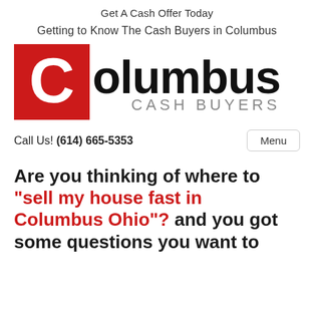Get A Cash Offer Today
Getting to Know The Cash Buyers in Columbus
[Figure (logo): Columbus Cash Buyers logo: red square with white C lettermark on the left, and 'Columbus' in large bold black text with 'CASH BUYERS' in smaller gray spaced capitals below it on the right.]
Call Us! (614) 665-5353   Menu
Are you thinking of where to “sell my house fast in Columbus Ohio”? and you got some questions you want to